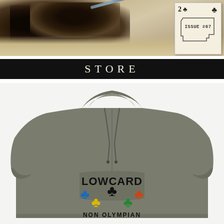[Figure (photo): Top banner photo showing burnt/rocky wood or fossil remains on sandy ground, with a playing card overlay in the top right showing '2 of clubs' and 'ISSUE #67' with a New Mexico state outline shape]
STORE
[Figure (photo): Gray heather hoodie sweatshirt showing the back with LOWCARD logo text and colorful interlocking club suit symbols (Olympic rings style) with 'NON OLYMPIAN' text below]